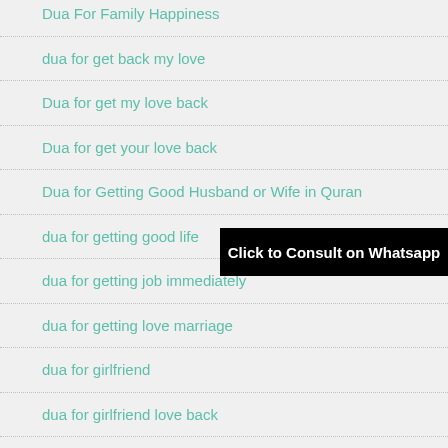Dua For Family Happiness
dua for get back my love
Dua for get my love back
Dua for get your love back
Dua for Getting Good Husband or Wife in Quran
dua for getting good life
[Figure (other): Black banner overlay reading 'Click to Consult on Whatsapp']
dua for getting job immediately
dua for getting love marriage
dua for girlfriend
dua for girlfriend love back